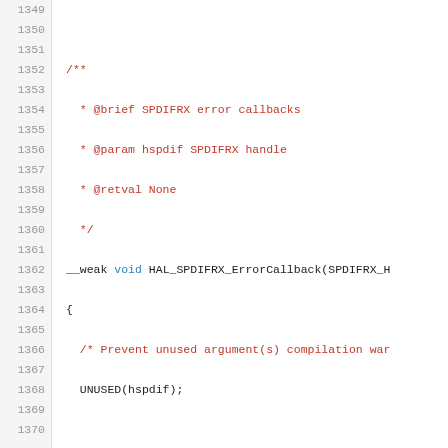[Figure (screenshot): Source code view showing C code lines 1349-1370 with line numbers on the left. The code shows a HAL_SPDIFRX_ErrorCallback function with doxygen comments and NOTE comments.]